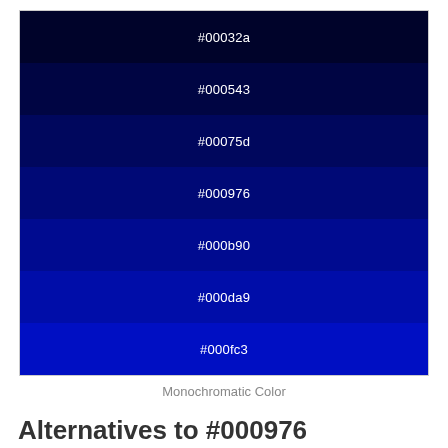[Figure (other): Monochromatic color swatches showing 7 shades of blue from very dark (#00032a) to bright blue (#000fc3), each swatch labeled with its hex color code in white text.]
Monochromatic Color
Alternatives to #000976
Color swatches representing alternatives to the base color #000976